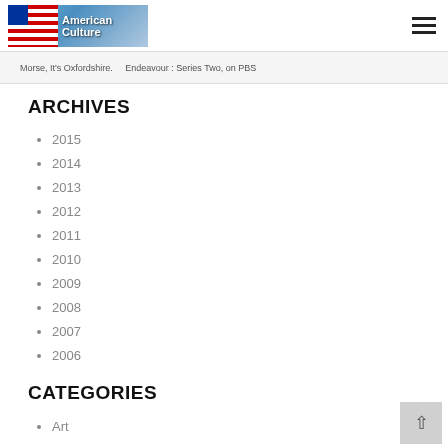American Culture
Morse, It's Oxfordshire. — Endeavour : Series Two, on PBS
ARCHIVES
2015
2014
2013
2012
2011
2010
2009
2008
2007
2006
CATEGORIES
Art